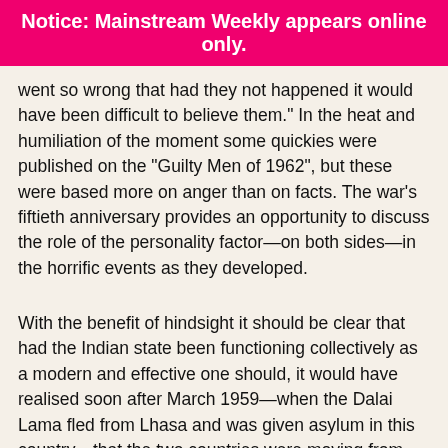Notice: Mainstream Weekly appears online only.
went so wrong that had they not happened it would have been difficult to believe them." In the heat and humiliation of the moment some quickies were published on the “Guilty Men of 1962", but these were based more on anger than on facts. The war's fiftieth anniversary provides an opportunity to discuss the role of the personality factor—on both sides—in the horrific events as they developed.
With the benefit of hindsight it should be clear that had the Indian state been functioning collectively as a modern and effective one should, it would have realised soon after March 1959—when the Dalai Lama fled from Lhasa and was given asylum in this country—that the two countries were moving from the Hindi-Chini bhai bhai era to the Hindi-Chini bye bye era. The trend became even clearer when violent armed clashes began and at Kongka-la in Ladakh the Chinese drew blood for the first time. Meanwhile, in September 1959, in a curt letter to Nehru, his Chinese opposite number Zhou